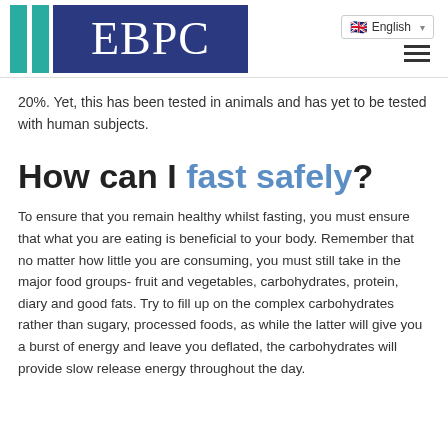EBPC | English
20%. Yet, this has been tested in animals and has yet to be tested with human subjects.
How can I fast safely?
To ensure that you remain healthy whilst fasting, you must ensure that what you are eating is beneficial to your body. Remember that no matter how little you are consuming, you must still take in the major food groups- fruit and vegetables, carbohydrates, protein, diary and good fats. Try to fill up on the complex carbohydrates rather than sugary, processed foods, as while the latter will give you a burst of energy and leave you deflated, the carbohydrates will provide slow release energy throughout the day.